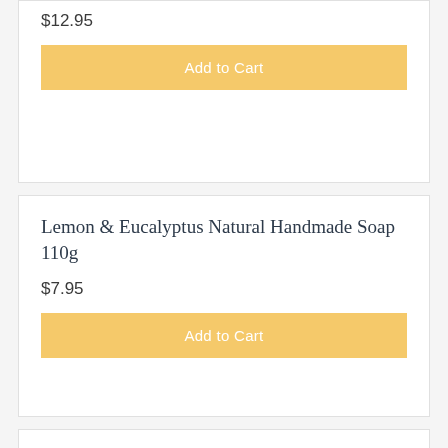$12.95
Add to Cart
Lemon & Eucalyptus Natural Handmade Soap 110g
$7.95
Add to Cart
500ml Amber Glass Bottle With Black Canyon Trigger
$9.00
Add to Cart